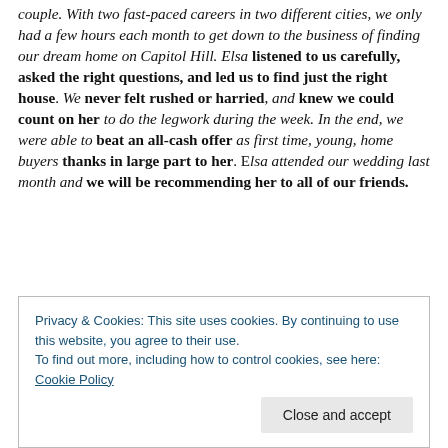couple. With two fast-paced careers in two different cities, we only had a few hours each month to get down to the business of finding our dream home on Capitol Hill. Elsa listened to us carefully, asked the right questions, and led us to find just the right house. We never felt rushed or harried, and knew we could count on her to do the legwork during the week. In the end, we were able to beat an all-cash offer as first time, young, home buyers thanks in large part to her. Elsa attended our wedding last month and we will be recommending her to all of our friends.
Privacy & Cookies: This site uses cookies. By continuing to use this website, you agree to their use.
To find out more, including how to control cookies, see here: Cookie Policy